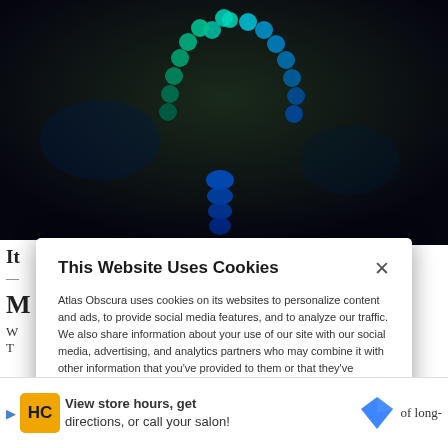[Figure (photo): Close-up photo of a scorpion or decorative beaded necklace with green and blue beads arranged in an arch shape against a dark background]
This Website Uses Cookies
Atlas Obscura uses cookies on its websites to personalize content and ads, to provide social media features, and to analyze our traffic. We also share information about your use of our site with our social media, advertising, and analytics partners who may combine it with other information that you've provided to them or that they've collected from your use of their services. By clicking "Accept Cookies", you are consenting to use of cookies as described in our Cookie Policy. View Cookie Policy
Manage Preferences
Allow Cookies